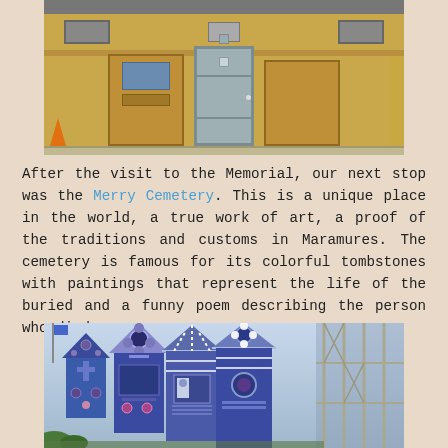[Figure (photo): Photograph of a yellow ochre building facade with a central grey door, side panels with blue signage, and a small orange traffic cone at the bottom left.]
After the visit to the Memorial, our next stop was the Merry Cemetery. This is a unique place in the world, a true work of art, a proof of the traditions and customs in Maramures. The cemetery is famous for its colorful tombstones with paintings that represent the life of the buried and a funny poem describing the person who died.
[Figure (photo): Photograph of the Merry Cemetery in Sapanta, Romania, showing colorful blue wooden tombstones decorated with folk art paintings and carvings, with scaffolding visible on the right side.]